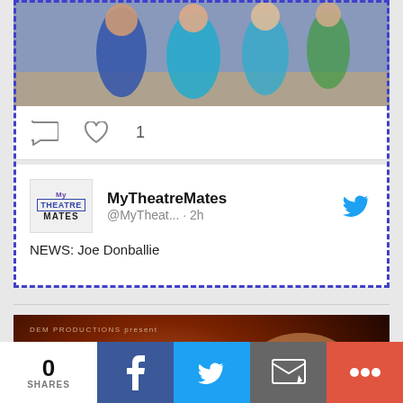[Figure (screenshot): Social media post showing a photo of people at the top, with like/comment icons (heart with count 1) below the photo, inside a dashed purple border.]
[Figure (screenshot): Tweet from MyTheatreMates (@MyTheat...) posted 2h ago, with Twitter bird icon, and preview text 'NEWS: Joe Donballie' inside a dashed purple border.]
[Figure (photo): Promotional poster for 'RIDE' by DEM PRODUCTIONS, showing the word RIDE in large cream/gold letters with a person wearing a hat on the right side against a dark red/brown background.]
[Figure (screenshot): Bottom share bar showing 0 SHARES on the left, then Facebook (blue), Twitter (light blue), Email (grey), and More (+) (coral/red) share buttons.]